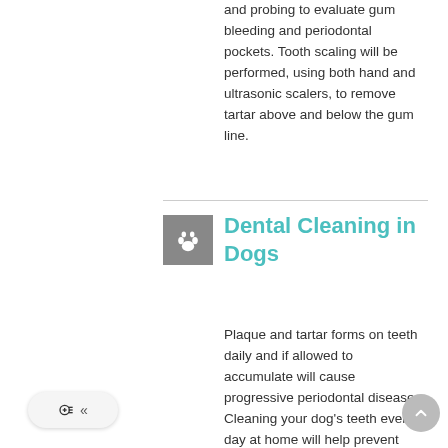and probing to evaluate gum bleeding and periodontal pockets. Tooth scaling will be performed, using both hand and ultrasonic scalers, to remove tartar above and below the gum line.
Dental Cleaning in Dogs
Plaque and tartar forms on teeth daily and if allowed to accumulate will cause progressive periodontal disease. Cleaning your dog's teeth every day at home will help prevent plaque and tartar build-up. For proper dental evaluation